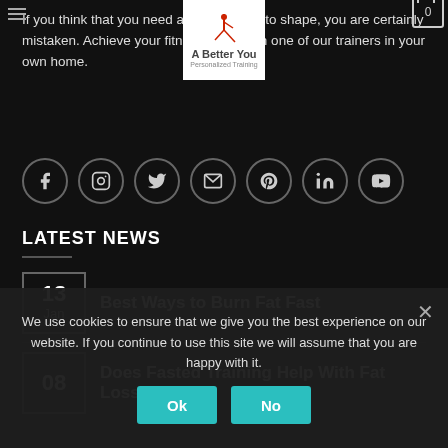If you think that you need a gym to get into shape, you are certainly mistaken. Achieve your fitness goals with one of our trainers in your own home.
[Figure (infographic): Row of 7 circular social media icons: Facebook, Instagram, Twitter, Email, Pinterest, LinkedIn, YouTube]
LATEST NEWS
13 Jan — Best Ways to Burn Fat Fast
08 — Does Fasted Training Help With Fat Loss
We use cookies to ensure that we give you the best experience on our website. If you continue to use this site we will assume that you are happy with it.